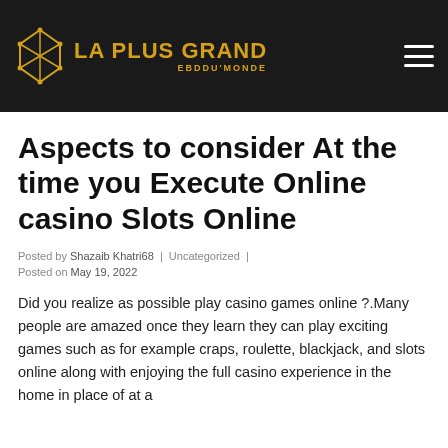LA PLUS GRAND EBDDU'MONDE
Aspects to consider At the time you Execute Online casino Slots Online
Posted by Shazaib Khatri68 | Uncategorized | Posted on May 19, 2022
Did you realize as possible play casino games online ?.Many people are amazed once they learn they can play exciting games such as for example craps, roulette, blackjack, and slots online along with enjoying the full casino experience in the home in place of at a